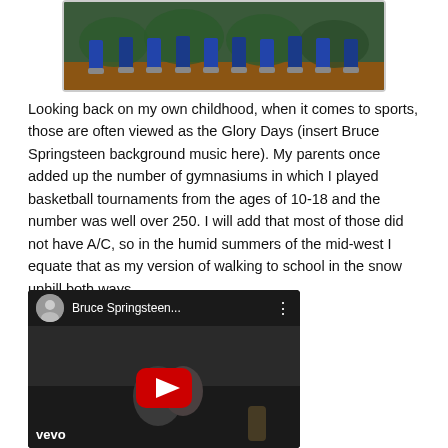[Figure (photo): Partial photo of a group of people standing outdoors, showing their legs and lower bodies on what appears to be grass or field ground. Cropped at the top.]
Looking back on my own childhood, when it comes to sports, those are often viewed as the Glory Days (insert Bruce Springsteen background music here). My parents once added up the number of gymnasiums in which I played basketball tournaments from the ages of 10-18 and the number was well over 250. I will add that most of those did not have A/C, so in the humid summers of the mid-west I equate that as my version of walking to school in the snow uphill both ways.
[Figure (screenshot): YouTube video embed showing a Bruce Springsteen video. The video thumbnail shows a couple embracing. The header shows Bruce Springsteen's avatar photo, the title 'Bruce Springsteen...' and a three-dot menu. A red YouTube play button is centered on the video. The vevo watermark is in the lower left.]